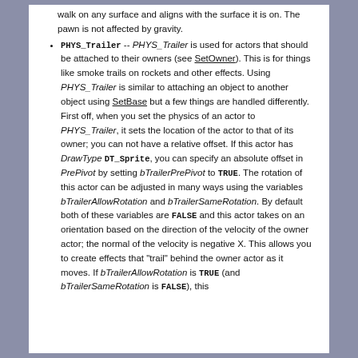walk on any surface and aligns with the surface it is on. The pawn is not affected by gravity.
PHYS_Trailer -- PHYS_Trailer is used for actors that should be attached to their owners (see SetOwner). This is for things like smoke trails on rockets and other effects. Using PHYS_Trailer is similar to attaching an object to another object using SetBase but a few things are handled differently. First off, when you set the physics of an actor to PHYS_Trailer, it sets the location of the actor to that of its owner; you can not have a relative offset. If this actor has DrawType DT_Sprite, you can specify an absolute offset in PrePivot by setting bTrailerPrePivot to TRUE. The rotation of this actor can be adjusted in many ways using the variables bTrailerAllowRotation and bTrailerSameRotation. By default both of these variables are FALSE and this actor takes on an orientation based on the direction of the velocity of the owner actor; the normal of the velocity is negative X. This allows you to create effects that "trail" behind the owner actor as it moves. If bTrailerAllowRotation is TRUE (and bTrailerSameRotation is FALSE), this